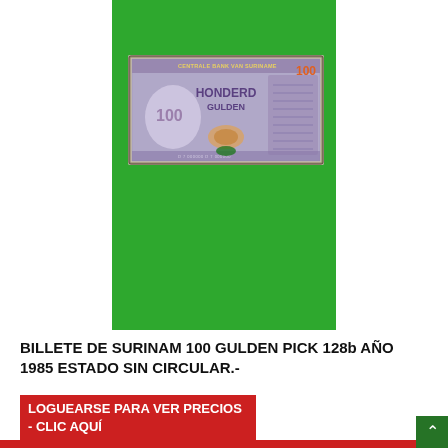[Figure (photo): Surinam 100 Gulden banknote (Pick 128b, 1985) shown on a green background. The note displays 'HONDERD GULDEN' text, the denomination 100, and ornate banknote design.]
BILLETE DE SURINAM 100 GULDEN PICK 128b AÑO 1985 ESTADO SIN CIRCULAR.-
LOGUEARSE PARA VER PRECIOS - CLIC AQUÍ